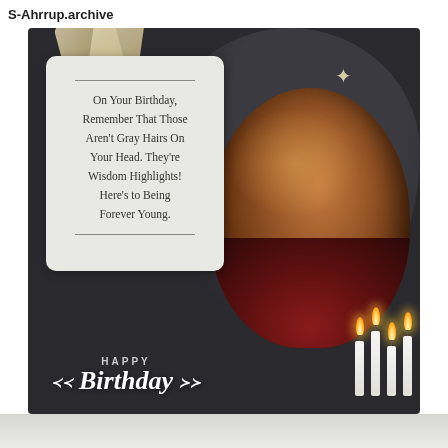S-Ahrrup.archive
[Figure (photo): Birthday card image showing an elderly person illuminated by candlelight with a white card overlay containing a birthday message, 'Happy Birthday' text at the bottom, ribbon decoration at top, and sparkle star on dark background.]